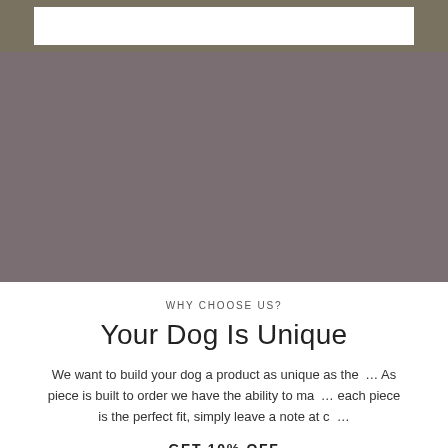[Figure (photo): Large muted mauve/taupe colored image section, likely a product or lifestyle photo, largely obscured or plain colored background.]
WHY CHOOSE US?
Your Dog Is Unique
We want to build your dog a product as unique as the... As piece is built to order we have the ability to ma... each piece is the perfect fit, simply leave a note at c...
GET 10% OFF